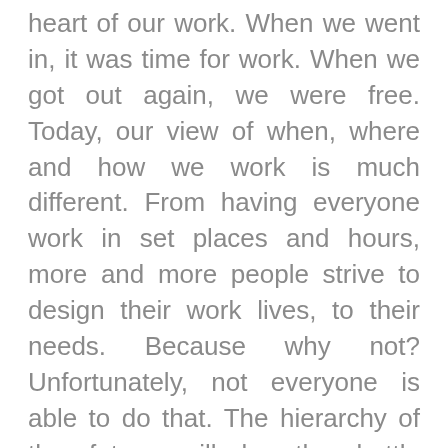heart of our work. When we went in, it was time for work. When we got out again, we were free. Today, our view of when, where and how we work is much different. From having everyone work in set places and hours, more and more people strive to design their work lives, to their needs. Because why not? Unfortunately, not everyone is able to do that. The hierarchy of the future will be the battle between time-owners and time-slaves. Who decides when and where to meet? You or your colleagues – or do you take turns?